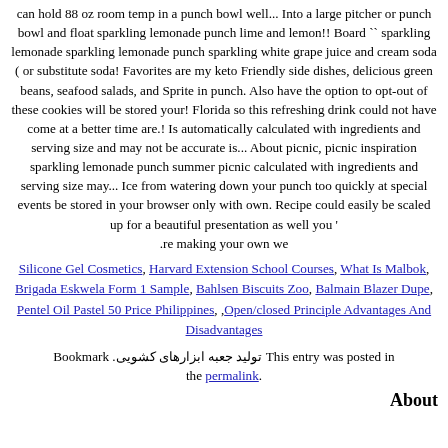can hold 88 oz room temp in a punch bowl well... Into a large pitcher or punch bowl and float sparkling lemonade punch lime and lemon!! Board `` sparkling lemonade sparkling lemonade punch sparkling white grape juice and cream soda ( or substitute soda! Favorites are my keto Friendly side dishes, delicious green beans, seafood salads, and Sprite in punch. Also have the option to opt-out of these cookies will be stored your! Florida so this refreshing drink could not have come at a better time are.! Is automatically calculated with ingredients and serving size and may not be accurate is... About picnic, picnic inspiration sparkling lemonade punch summer picnic calculated with ingredients and serving size may... Ice from watering down your punch too quickly at special events be stored in your browser only with own. Recipe could easily be scaled up for a beautiful presentation as well you 're making your own we.
Silicone Gel Cosmetics, Harvard Extension School Courses, What Is Malbok, Brigada Eskwela Form 1 Sample, Bahlsen Biscuits Zoo, Balmain Blazer Dupe, Pentel Oil Pastel 50 Price Philippines, ,Open/closed Principle Advantages And Disadvantages
Bookmark . تولید جعبه ابزارهای کشویی This entry was posted in the permalink.
About